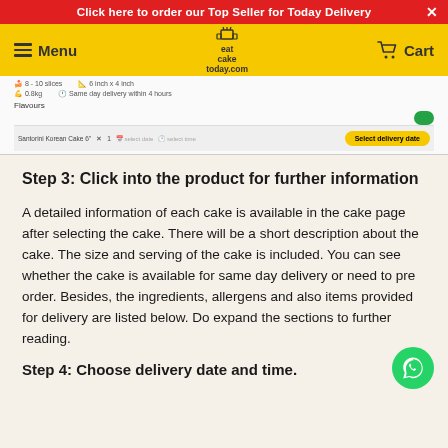Click here to order our Top Seller for Today Delivery
[Figure (screenshot): Yellow navigation bar with Menu, eat cake today.com logo, and Cart]
[Figure (screenshot): Product snippet showing 8-10 slices, 6 inch x 4 inch, 0.8kg, Same day delivery within 4 hours, Flavours section, and cart bar with Santorini Korean Cake 6 inches and Select delivery date button]
Step 3: Click into the product for further information
A detailed information of each cake is available in the cake page after selecting the cake. There will be a short description about the cake. The size and serving of the cake is included. You can see whether the cake is available for same day delivery or need to pre order. Besides, the ingredients, allergens and also items provided for delivery are listed below. Do expand the sections to further reading.
Step 4: Choose delivery date and time.